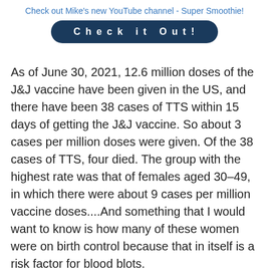Check out Mike's new YouTube channel - Super Smoothie!
Check it Out!
As of June 30, 2021, 12.6 million doses of the J&J vaccine have been given in the US, and there have been 38 cases of TTS within 15 days of getting the J&J vaccine. So about 3 cases per million doses were given. Of the 38 cases of TTS, four died. The group with the highest rate was that of females aged 30–49, in which there were about 9 cases per million vaccine doses....And something that I would want to know is how many of these women were on birth control because that in itself is a risk factor for blood blots.
Another condition is Guillain-Barré syndrome, a